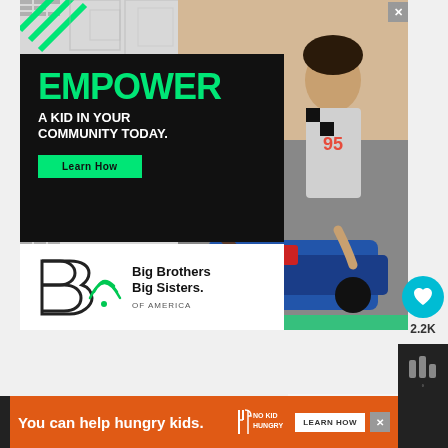[Figure (illustration): Big Brothers Big Sisters of America advertisement. Black box with green 'EMPOWER' text, 'A KID IN YOUR COMMUNITY TODAY.' in white, green 'Learn How' button. Logo of Big Brothers Big Sisters of America. Photo of adult man and boy working on a robot/RC car. Decorative geometric pattern background.]
[Figure (infographic): Social interaction buttons: teal heart icon button with 2.2K likes count, and a share button below it.]
[Figure (infographic): What's Next panel: thumbnail circle image with 'Sweet Potato Noodle Sala...' title]
[Figure (infographic): Bottom orange banner ad: 'You can help hungry kids.' with No Kid Hungry logo and 'LEARN NOW' button]